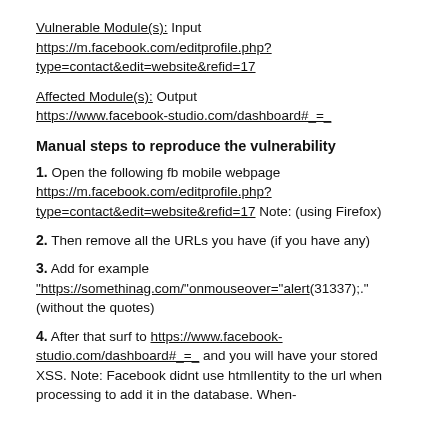Vulnerable Module(s): Input https://m.facebook.com/editprofile.php?type=contact&edit=website&refid=17
Affected Module(s): Output https://www.facebook-studio.com/dashboard#_=_
Manual steps to reproduce the vulnerability
1. Open the following fb mobile webpage https://m.facebook.com/editprofile.php?type=contact&edit=website&refid=17 Note: (using Firefox)
2. Then remove all the URLs you have (if you have any)
3. Add for example "https://somethinag.com/"onmouseover="alert(31337);." (without the quotes)
4. After that surf to https://www.facebook-studio.com/dashboard#_=_ and you will have your stored XSS. Note: Facebook didnt use htmlentity to the url when processing to add it in the database. When-